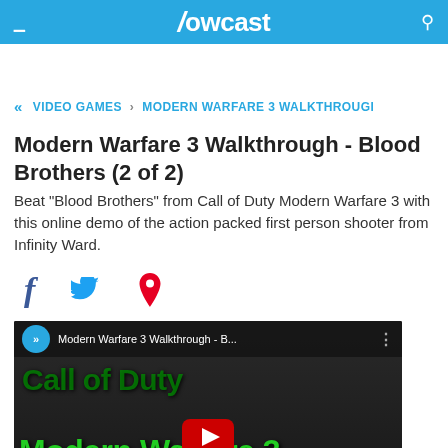Howcast
VIDEO GAMES › MODERN WARFARE 3 WALKTHROUGH
Modern Warfare 3 Walkthrough - Blood Brothers (2 of 2)
Beat "Blood Brothers" from Call of Duty Modern Warfare 3 with this online demo of the action packed first person shooter from Infinity Ward.
[Figure (screenshot): Social share icons: Facebook, Twitter, Pinterest]
[Figure (screenshot): Video thumbnail for Modern Warfare 3 Walkthrough - Blood Brothers with Call of Duty branding and YouTube play button]